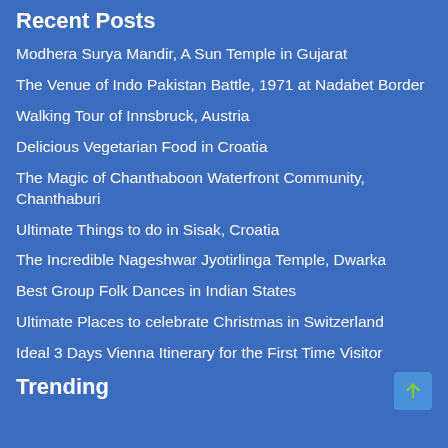Recent Posts
Modhera Surya Mandir, A Sun Temple in Gujarat
The Venue of Indo Pakistan Battle, 1971 at Nadabet Border
Walking Tour of Innsbruck, Austria
Delicious Vegetarian Food in Croatia
The Magic of Chanthaboon Waterfront Community, Chanthaburi
Ultimate Things to do in Sisak, Croatia
The Incredible Nageshwar Jyotirlinga Temple, Dwarka
Best Group Folk Dances in Indian States
Ultimate Places to celebrate Christmas in Switzerland
Ideal 3 Days Vienna Itinerary for the First Time Visitor
Trending